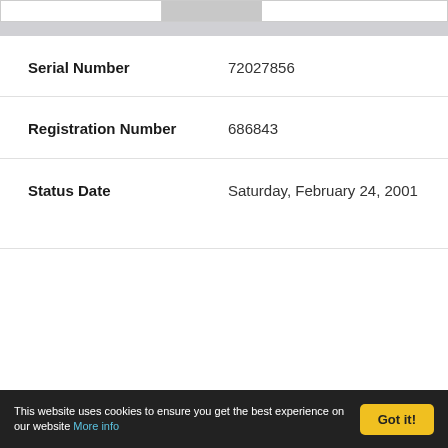| Field | Value |
| --- | --- |
| Serial Number | 72027856 |
| Registration Number | 686843 |
| Status Date | Saturday, February 24, 2001 |
This website uses cookies to ensure you get the best experience on our website More info